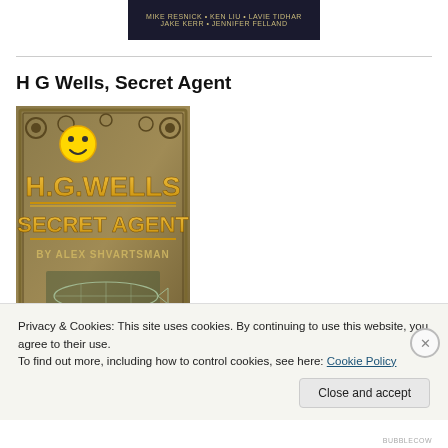MIKE RESNICK • KEN LIU • LAVIE TIDHAR
JAKE KERR • JENNIFER FELLAND
H G Wells, Secret Agent
[Figure (illustration): Book cover for 'H.G. Wells Secret Agent by Alex Shvartsman: The Case of the Weather Machine' — steampunk style with large golden letters, a smiley face emoji, gears, and a zeppelin.]
Privacy & Cookies: This site uses cookies. By continuing to use this website, you agree to their use.
To find out more, including how to control cookies, see here: Cookie Policy
Close and accept